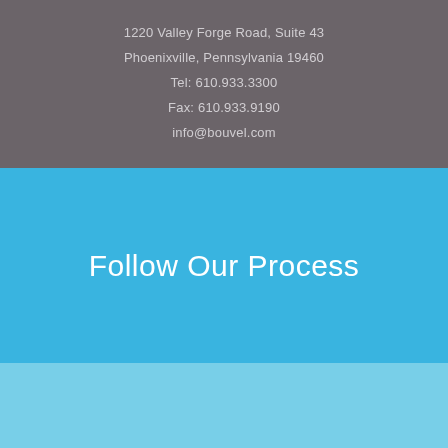1220 Valley Forge Road, Suite 43
Phoenixville, Pennsylvania 19460
Tel: 610.933.3300
Fax: 610.933.9190
info@bouvel.com
Follow Our Process